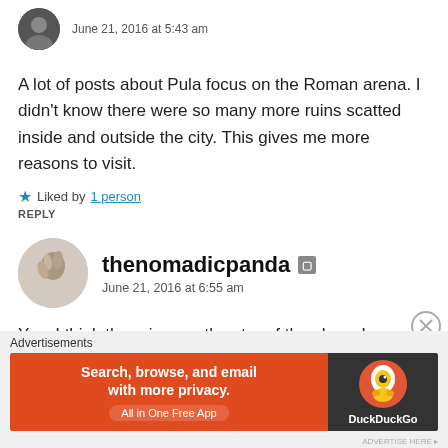June 21, 2016 at 5:43 am
A lot of posts about Pula focus on the Roman arena. I didn't know there were so many more ruins scatted inside and outside the city. This gives me more reasons to visit.
Liked by 1 person
REPLY
thenomadicpanda
June 21, 2016 at 6:55 am
Yes, I think the ruins are the star of the show. I couldn't
Advertisements
[Figure (infographic): DuckDuckGo advertisement banner: orange left panel with text 'Search, browse, and email with more privacy. All in One Free App', dark right panel with DuckDuckGo duck logo and text 'DuckDuckGo']